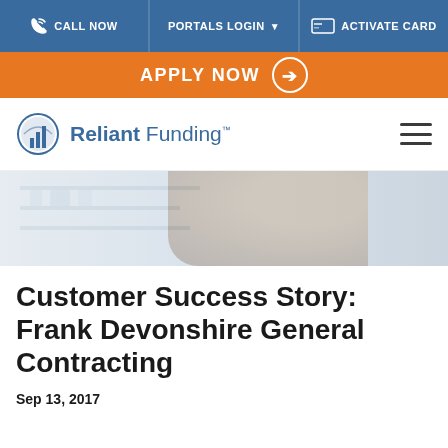CALL NOW | PORTALS LOGIN | ACTIVATE CARD
APPLY NOW
[Figure (logo): Reliant Funding logo with blue building icon and text 'Reliant Funding']
[Figure (photo): Hero banner image showing a man in an office environment, slightly blurred background]
Customer Success Story: Frank Devonshire General Contracting
Sep 13, 2017